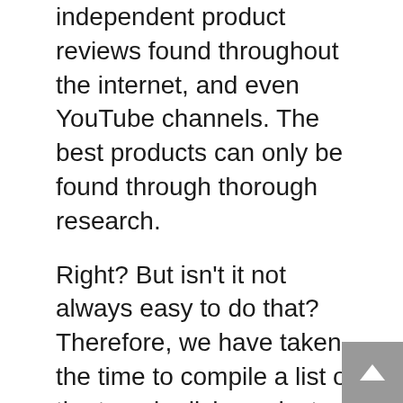independent product reviews found throughout the internet, and even YouTube channels. The best products can only be found through thorough research.
Right? But isn't it not always easy to do that? Therefore, we have taken the time to compile a list of the top pie dish products on the market, for your benefit, so that you don't need to worry.
What led us to compile this list? Why did we make this buying guide?
Firstly, we used our algorithms to gather the information about the products that were available